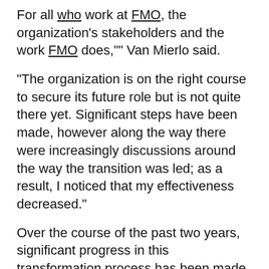For all who work at FMO, the organization's stakeholders and the work FMO does,"” Van Mierlo said.
“The organization is on the right course to secure its future role but is not quite there yet. Significant steps have been made, however along the way there were increasingly discussions around the way the transition was led; as a result, I noticed that my effectiveness decreased.”
Over the course of the past two years, significant progress in this transformation process has been made.